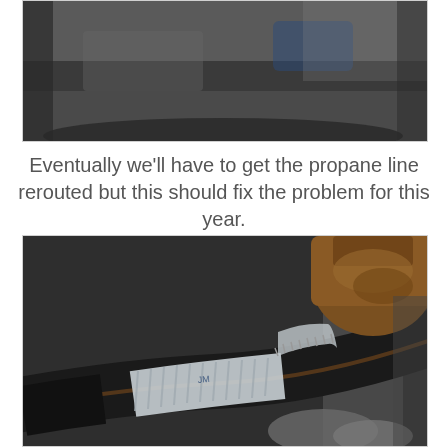[Figure (photo): Close-up photo of mechanical/garage area with dark background, partially visible at top of page]
Eventually we'll have to get the propane line rerouted but this should fix the problem for this year.
[Figure (photo): Close-up photo of a corroded pipe fitting with white tape/PTFE tape wrapped around a black rubber hose junction, showing rust and mineral deposits]